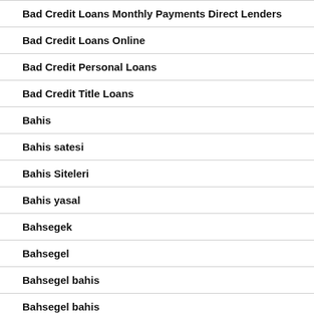Bad Credit Loans Monthly Payments Direct Lenders
Bad Credit Loans Online
Bad Credit Personal Loans
Bad Credit Title Loans
Bahis
Bahis satesi
Bahis Siteleri
Bahis yasal
Bahsegek
Bahsegel
Bahsegel bahis
Bahsegel bahis